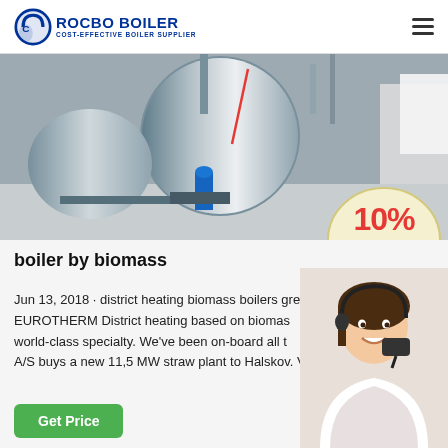[Figure (logo): Rocbo Boiler logo with circular C icon and text ROCBO BOILER COST-EFFECTIVE BOILER SUPPLIER]
[Figure (photo): Industrial boiler room with large cylindrical boilers and pipes]
[Figure (infographic): 10% DISCOUNT badge in red and blue text on cream background]
boiler by biomass
Jun 13, 2018 · district heating biomass boilers gre EUROTHERM District heating based on biomas world-class specialty. We've been on-board all t A/S buys a new 11,5 MW straw plant to Halskov. V.
[Figure (photo): Customer service representative woman wearing headset, smiling]
Get Price
7X24 Online